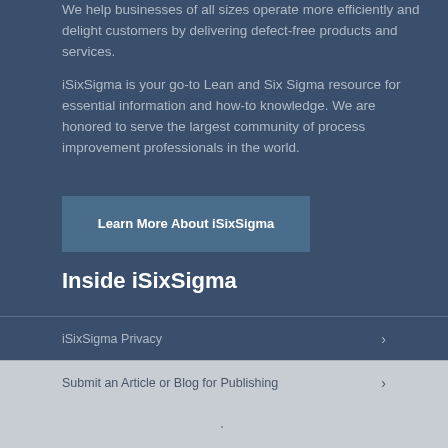We help businesses of all sizes operate more efficiently and delight customers by delivering defect-free products and services.
iSixSigma is your go-to Lean and Six Sigma resource for essential information and how-to knowledge. We are honored to serve the largest community of process improvement professionals in the world.
Learn More About iSixSigma
Inside iSixSigma
iSixSigma Privacy
Submit an Article or Blog for Publishing